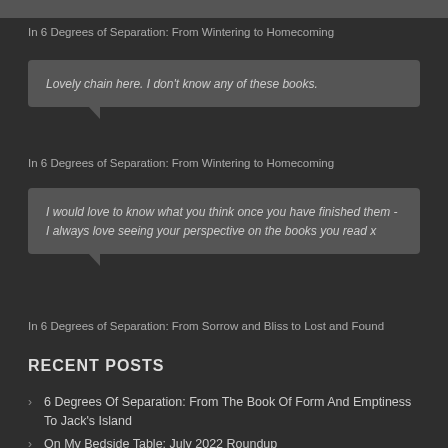In 6 Degrees of Separation: From Wintering to Homecoming
Lovely chain here. I don't know any of these books.
In 6 Degrees of Separation: From Wintering to Homecoming
I would love to know what you think once you have finished them - I always love seeing your perspective on the books you read x
In 6 Degrees of Separation: From Sorrow and Bliss to Lost and Found
RECENT POSTS
6 Degrees Of Separation: From The Book Of Form And Emptiness To Jack's Island
On My Bedside Table: July 2022 Roundup